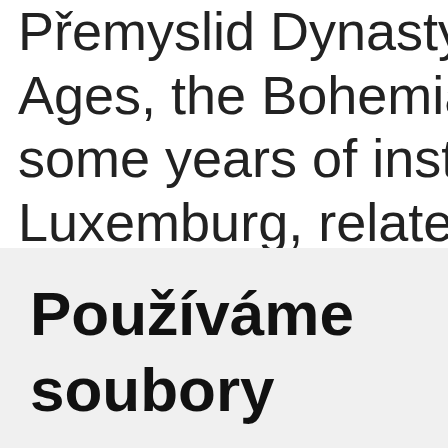Přemyslid Dynasty died... Ages, the Bohemian th... some years of instabili... Luxemburg, related to... marriage. The Kingdom...
Používáme soubory